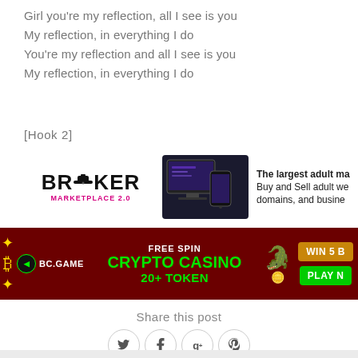Girl you're my reflection, all I see is you
My reflection, in everything I do
You're my reflection and all I see is you
My reflection, in everything I do
[Hook 2]
[Figure (advertisement): Broker Marketplace 2.0 advertisement banner showing logo with man in top hat, screenshots of website on devices, and text 'The largest adult ma... Buy and Sell adult we... domains, and busine...']
[Figure (advertisement): BC.GAME Crypto Casino advertisement banner. Dark red background. Text: FREE SPIN, CRYPTO CASINO, 20+ TOKEN. WIN 5 B... PLAY N... buttons. Green cartoon alligator mascot.]
Share this post
[Figure (other): Social sharing icons: Twitter (bird), Facebook (f), Google+ (g+), Pinterest (p) — all in circular bordered buttons]